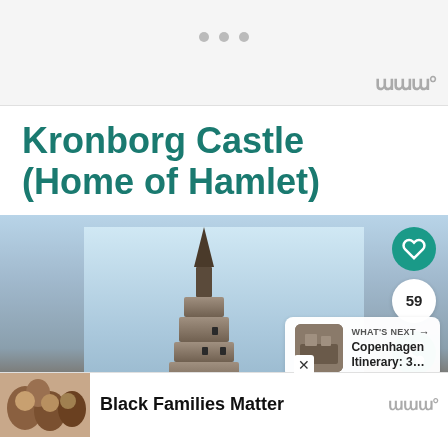[Figure (screenshot): Top navigation bar with three dots and a watermark logo in the top right corner]
Kronborg Castle (Home of Hamlet)
[Figure (photo): Photo of Kronborg Castle tower against a cloudy blue sky, with UI overlays: heart/like button, count badge showing 59, share button, and a 'What's Next' panel showing Copenhagen Itinerary: 3...]
[Figure (screenshot): Advertisement banner at the bottom showing a family photo and the text 'Black Families Matter' with a close button and watermark logo]